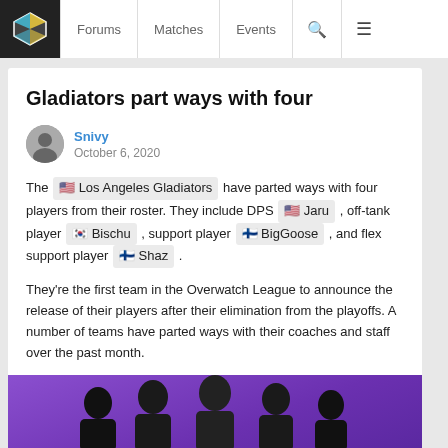Forums | Matches | Events
Gladiators part ways with four
Snivy
October 6, 2020
The 🇺🇸 Los Angeles Gladiators have parted ways with four players from their roster. They include DPS 🇺🇸 Jaru , off-tank player 🇰🇷 Bischu , support player 🇫🇮 BigGoose , and flex support player 🇫🇮 Shaz .
They're the first team in the Overwatch League to announce the release of their players after their elimination from the playoffs. A number of teams have parted ways with their coaches and staff over the past month.
[Figure (photo): Group photo of several esports players or staff from behind, against a purple background]